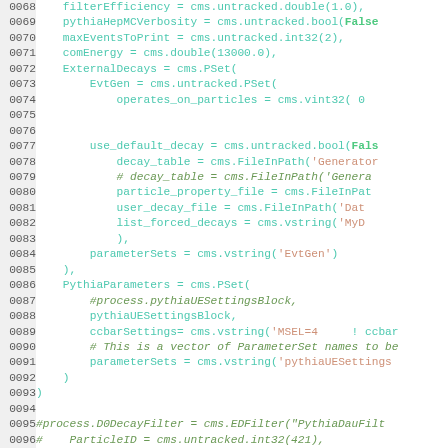[Figure (screenshot): Source code listing with line numbers 0068-0097, showing Python/CMS configuration code with syntax highlighting. Lines feature cyan identifiers, green italic comments, orange-red string literals, and bold green for boolean values like False/True.]